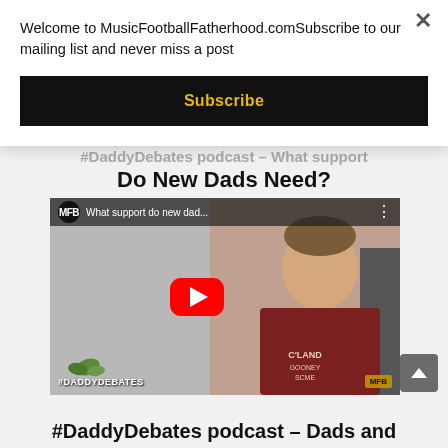Welcome to MusicFootballFatherhood.comSubscribe to our mailing list and never miss a post
Subscribe
#DaddyDebates podcast – What support Do New Dads Need?
[Figure (screenshot): YouTube video thumbnail showing a man in a red hoodie seated, with YouTube play button overlay. Title reads 'What support do new dad...' MFB logo in top left. #DADDYDEBATES text in lower left.]
#DaddyDebates podcast – Dads and...